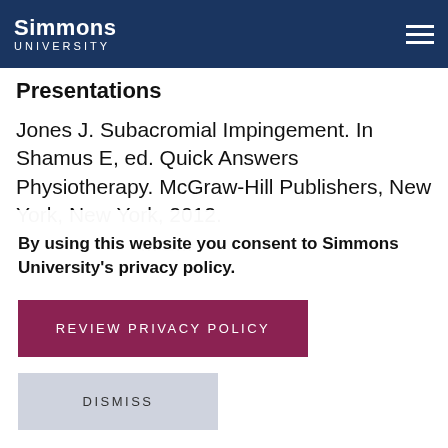Simmons University
Presentations
Jones J. Subacromial Impingement. In Shamus E, ed. Quick Answers Physiotherapy. McGraw-Hill Publishers, New York, New York, 2012.
By using this website you consent to Simmons University's privacy policy.
REVIEW PRIVACY POLICY
DISMISS